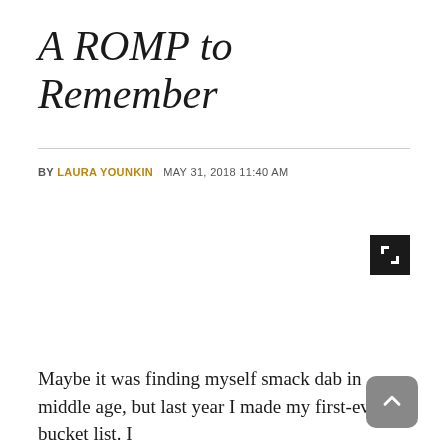A ROMP to Remember
BY LAURA YOUNKIN   MAY 31, 2018 11:40 AM
[Figure (other): Expand/fullscreen icon button — black square with bracket corner symbol]
Maybe it was finding myself smack dab in middle age, but last year I made my first-ever bucket list. I